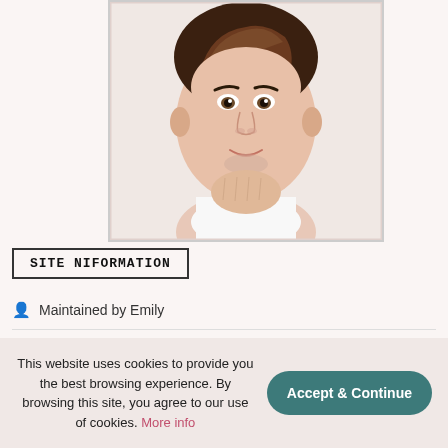[Figure (photo): Portrait photo of a young man with brown hair, resting his chin on his fist, smiling slightly, wearing a white shirt, against a white background.]
SITE INFORMATION
Maintained by Emily
Opened June 17, 2020
This website uses cookies to provide you the best browsing experience. By browsing this site, you agree to our use of cookies. More info